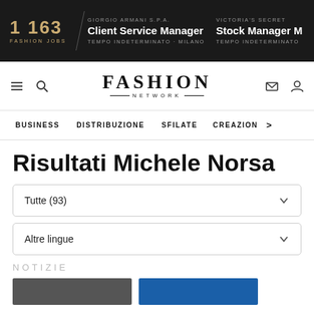1 163 FASHION JOBS | GIORGIO ARMANI S.P.A. Client Service Manager TEMPO INDETERMINATO - MILANO | VICTORIA'S SECRET Stock Manager TEMPO INDETERMINATO
[Figure (screenshot): Fashion Network website navigation logo with FASHION NETWORK text]
BUSINESS   DISTRIBUZIONE   SFILATE   CREAZION >
Risultati Michele Norsa
Tutte (93)
Altre lingue
NOTIZIE